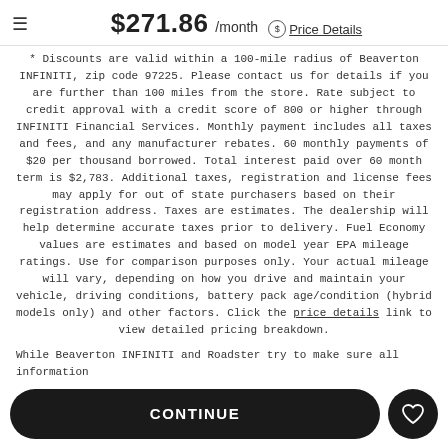$271.86 /month  Price Details
* Discounts are valid within a 100-mile radius of Beaverton INFINITI, zip code 97225. Please contact us for details if you are further than 100 miles from the store. Rate subject to credit approval with a credit score of 800 or higher through INFINITI Financial Services. Monthly payment includes all taxes and fees, and any manufacturer rebates. 60 monthly payments of $20 per thousand borrowed. Total interest paid over 60 month term is $2,783. Additional taxes, registration and license fees may apply for out of state purchasers based on their registration address. Taxes are estimates. The dealership will help determine accurate taxes prior to delivery. Fuel Economy values are estimates and based on model year EPA mileage ratings. Use for comparison purposes only. Your actual mileage will vary, depending on how you drive and maintain your vehicle, driving conditions, battery pack age/condition (hybrid models only) and other factors. Click the price details link to view detailed pricing breakdown.
While Beaverton INFINITI and Roadster try to make sure all information
CONTINUE